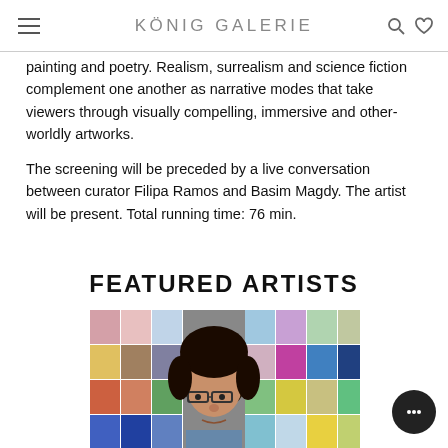KÖNIG GALERIE
painting and poetry. Realism, surrealism and science fiction complement one another as narrative modes that take viewers through visually compelling, immersive and other-worldly artworks.
The screening will be preceded by a live conversation between curator Filipa Ramos and Basim Magdy. The artist will be present. Total running time: 76 min.
FEATURED ARTISTS
[Figure (photo): Artist portrait of a man with curly dark hair and glasses, set against a background grid of colorful artwork thumbnails]